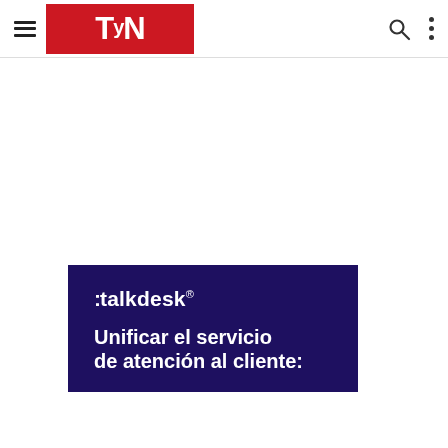TyN magazine navigation bar with hamburger menu, TyN logo, search icon, and dots menu
[Figure (logo): Talkdesk dark navy banner showing the talkdesk logo and partial headline 'Unificar el servicio de atención al cliente:']